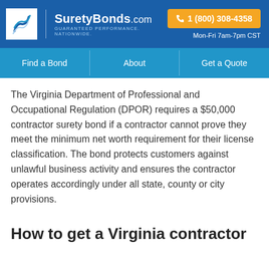[Figure (logo): SuretyBonds.com logo with S-shaped icon, white background, blue header with phone number 1 (800) 308-4358 in orange button and Mon-Fri 7am-7pm CST hours]
Find a Bond | About | Get a Quote
The Virginia Department of Professional and Occupational Regulation (DPOR) requires a $50,000 contractor surety bond if a contractor cannot prove they meet the minimum net worth requirement for their license classification. The bond protects customers against unlawful business activity and ensures the contractor operates accordingly under all state, county or city provisions.
How to get a Virginia contractor